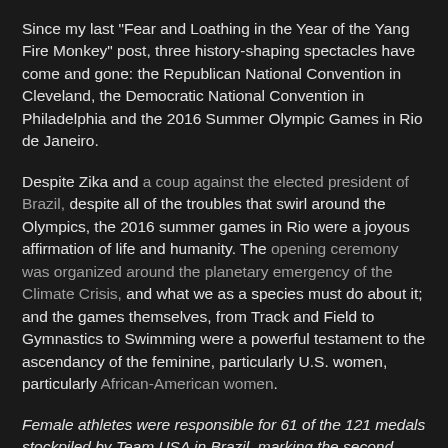Since my last "Fear and Loathing in the Year of the Yang Fire Monkey" post, three history-shaping spectacles have come and gone: the Republican National Convention in Cleveland, the Democratic National Convention in Philadelphia and the 2016 Summer Olympic Games in Rio de Janeiro.
Despite Zika and a coup against the elected president of Brazil, despite all of the troubles that swirl around the Olympics, the 2016 summer games in Rio were a joyous affirmation of life and humanity. The opening ceremony was organized around the planetary emergency of the Climate Crisis, and what we as a species must do about it; and the games themselves, from Track and Field to Gymnastics to Swimming were a powerful testament to the ascendancy of the feminine, particularly U.S. women, particularly African-American women.
Female athletes were responsible for 61 of the 121 medals stockpiled by Team USA in Brazil, marking the second straight Summer Olympics where they finished with more silverware than their male counterparts. If the women of